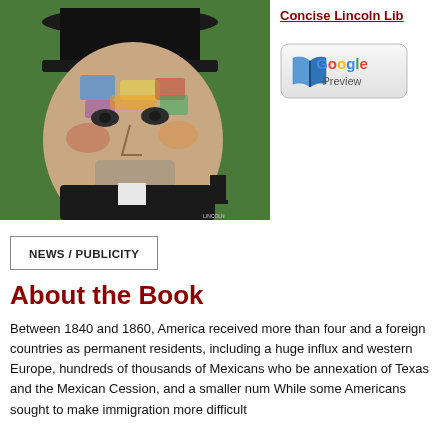[Figure (illustration): Colorful painted portrait of Abraham Lincoln wearing a black top hat, rendered in an impressionistic style with blues, yellows, and greens on a green background. A small Lincoln Library logo is visible in the lower right of the painting.]
Concise Lincoln Lib
[Figure (logo): Google Preview button with an open book icon on the left and 'Google Preview' text on the right, inside a rounded rectangle button.]
NEWS / PUBLICITY
About the Book
Between 1840 and 1860, America received more than four and a foreign countries as permanent residents, including a huge influx and western Europe, hundreds of thousands of Mexicans who be annexation of Texas and the Mexican Cession, and a smaller num While some Americans sought to make immigration more difficult